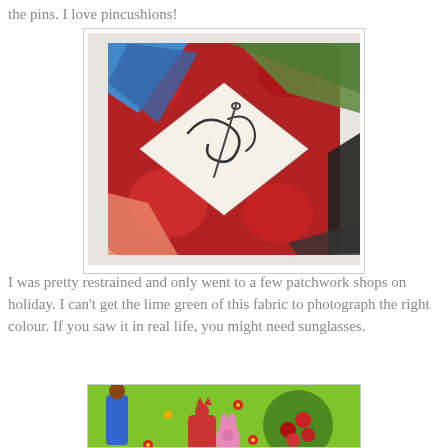the pins. I love pincushions!
[Figure (photo): A handmade patchwork pincushion made from colorful fabrics including red swirls, blue, and floral patterns, with an embroidered needle and thread design on a white center square, photographed on a white textured surface.]
I was pretty restrained and only went to a few patchwork shops on holiday. I can't get the lime green of this fabric to photograph the right colour. If you saw it in real life, you might need sunglasses.
[Figure (photo): A bright lime green fabric with a colorful folk art pattern featuring stylized figures, cats, flowers, stars, and decorative elements in red, blue, pink, and dark red on a vivid green background.]